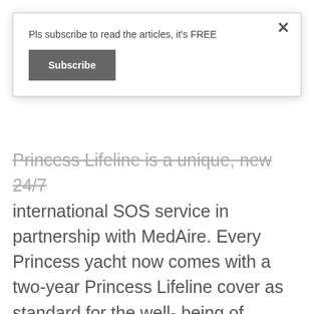Pls subscribe to read the articles, it's FREE
Subscribe
Princess Lifeline is a unique, new 24/7 international SOS service in partnership with MedAire. Every Princess yacht now comes with a two-year Princess Lifeline cover as standard for the well- being of Princess owners and their guests whilst aboard. It provides around-the-clock global access to medical and travel safety experts, real-time information and primary contact throughout your trip. For the luxury yacht